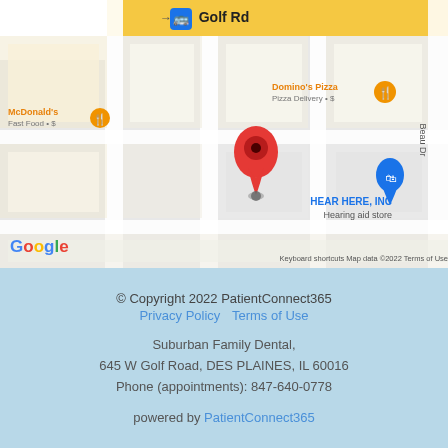[Figure (map): Google Maps screenshot showing Golf Rd area with markers for McDonald's, Domino's Pizza, and HEAR HERE INC hearing aid store. A red location pin is visible in the center. Beau Dr runs along the right side.]
© Copyright 2022 PatientConnect365
Privacy Policy   Terms of Use
Suburban Family Dental,
645 W Golf Road, DES PLAINES, IL 60016
Phone (appointments): 847-640-0778
powered by PatientConnect365